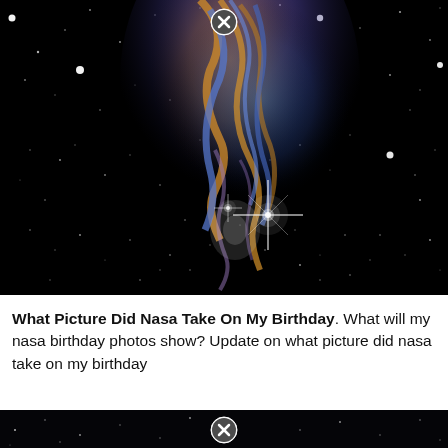[Figure (photo): Hubble Space Telescope image of a nebula (Veil Nebula) showing colorful filaments of gas in orange, blue and gold against a black star-filled background. A bright star with diffraction spikes is visible in the lower center. A close/dismiss button (circled X) appears at the top center of the image.]
What Picture Did Nasa Take On My Birthday. What will my nasa birthday photos show? Update on what picture did nasa take on my birthday
[Figure (photo): Partial view of another space/astronomy image showing stars against a black background, with a close/dismiss button (circled X) at the top center.]